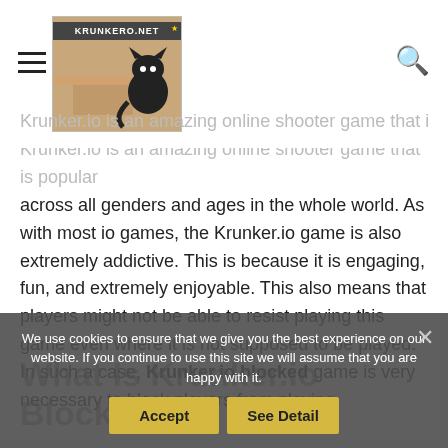KRUNKERO.NET [logo with cat]
Krunker.io is an amazing online shooter game that is popular across all genders and ages in the whole world. As with most io games, the Krunker.io game is also extremely addictive. This is because it is engaging, fun, and extremely enjoyable. This also means that players might not be able to resist playing this game even where it is not supposed to be played. In such a case, Krunker.io blocked game is very necessary to block players from playing.

While Krunker.io is an awesome game, there are instances where players need to be restricted so that they can play at specified times or they don't get to play completely.
What Is Krunker.io Blocked?
We use cookies to ensure that we give you the best experience on our website. If you continue to use this site we will assume that you are happy with it.